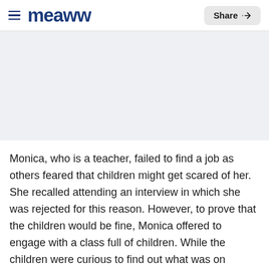meaww — Share
[Figure (photo): Gray placeholder image area for article photo]
Monica, who is a teacher, failed to find a job as others feared that children might get scared of her. She recalled attending an interview in which she was rejected for this reason. However, to prove that the children would be fine, Monica offered to engage with a class full of children. While the children were curious to find out what was on